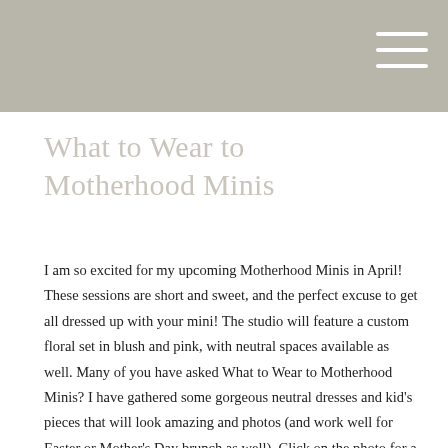What to Wear to Motherhood Minis
I am so excited for my upcoming Motherhood Minis in April! These sessions are short and sweet, and the perfect excuse to get all dressed up with your mini! The studio will feature a custom floral set in blush and pink, with neutral spaces available as well. Many of you have asked What to Wear to Motherhood Minis? I have gathered some gorgeous neutral dresses and kid’s pieces that will look amazing and photos (and work well for Easter or Mother’s Day brunch as well). Click on the photo for a shopping